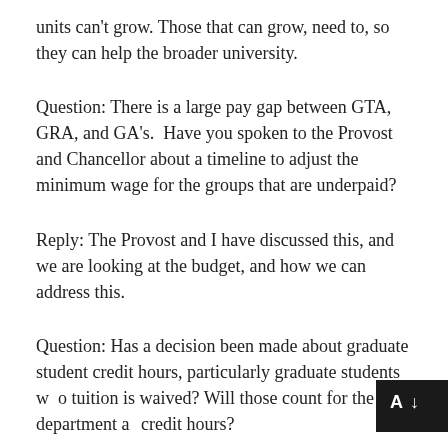units can't grow. Those that can grow, need to, so they can help the broader university.
Question: There is a large pay gap between GTA, GRA, and GA's. Have you spoken to the Provost and Chancellor about a timeline to adjust the minimum wage for the groups that are underpaid?
Reply: The Provost and I have discussed this, and we are looking at the budget, and how we can address this.
Question: Has a decision been made about graduate student credit hours, particularly graduate students who tuition is waived? Will those count for the department as credit hours?